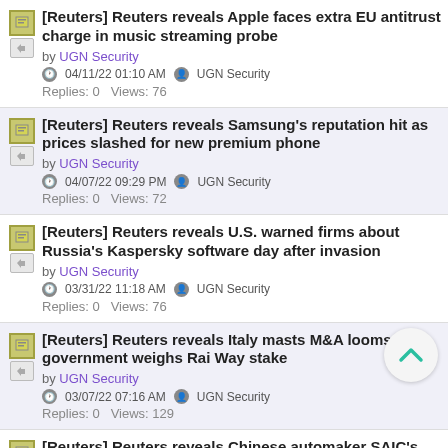[Reuters] Reuters reveals Apple faces extra EU antitrust charge in music streaming probe
by UGN Security
04/11/22 01:10 AM  UGN Security
Replies: 0   Views: 76
[Reuters] Reuters reveals Samsung's reputation hit as prices slashed for new premium phone
by UGN Security
04/07/22 09:29 PM  UGN Security
Replies: 0   Views: 72
[Reuters] Reuters reveals U.S. warned firms about Russia's Kaspersky software day after invasion
by UGN Security
03/31/22 11:18 AM  UGN Security
Replies: 0   Views: 76
[Reuters] Reuters reveals Italy masts M&A looms as government weighs Rai Way stake
by UGN Security
03/07/22 07:16 AM  UGN Security
Replies: 0   Views: 129
[Reuters] Reuters reveals Chinese automaker SAIC's MG Motor raises funds for EV push